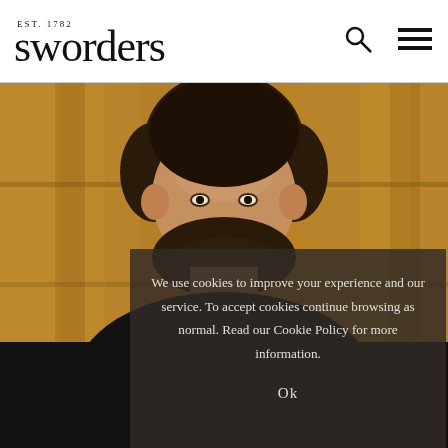sworders EST. 1782
[Figure (photo): Portrait photo of a bearded man with dark hair, smiling slightly, standing in front of a wooden background]
We use cookies to improve your experience and our service. To accept cookies continue browsing as normal. Read our Cookie Policy for more information.
Ok